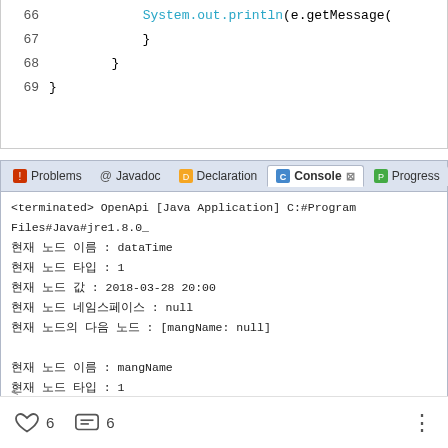66        System.out.println(e.getMessage(
67            }
68        }
69  }
[Figure (screenshot): Eclipse IDE console panel tabs: Problems, Javadoc, Declaration, Console (active), Progress. Console output showing Java program run with Korean text output for XML node parsing: node names, types, values, namespace, next nodes for dataTime, mangName, so2Value.]
6   6   :